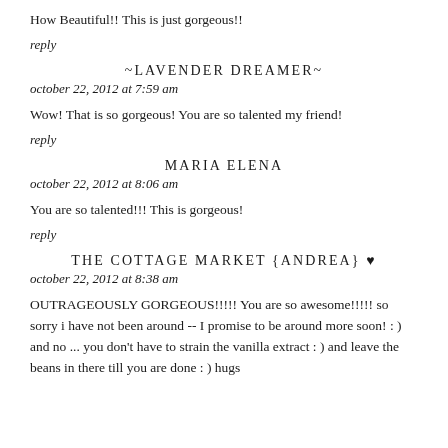How Beautiful!! This is just gorgeous!!
reply
~LAVENDER DREAMER~
october 22, 2012 at 7:59 am
Wow! That is so gorgeous! You are so talented my friend!
reply
MARIA ELENA
october 22, 2012 at 8:06 am
You are so talented!!! This is gorgeous!
reply
THE COTTAGE MARKET {ANDREA} ♥
october 22, 2012 at 8:38 am
OUTRAGEOUSLY GORGEOUS!!!!! You are so awesome!!!!! so sorry i have not been around -- I promise to be around more soon! : ) and no ... you don't have to strain the vanilla extract : ) and leave the beans in there till you are done : ) hugs